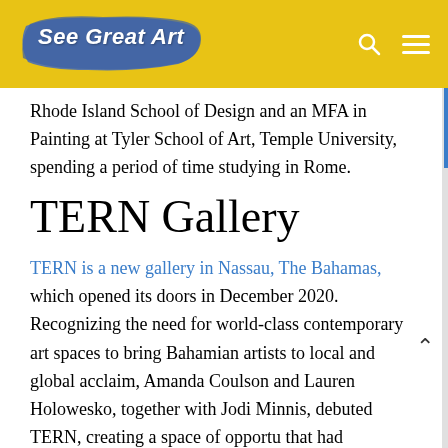See Great Art
Rhode Island School of Design and an MFA in Painting at Tyler School of Art, Temple University, spending a period of time studying in Rome.
TERN Gallery
TERN is a new gallery in Nassau, The Bahamas, which opened its doors in December 2020. Recognizing the need for world-class contemporary art spaces to bring Bahamian artists to local and global acclaim, Amanda Coulson and Lauren Holowesko, together with Jodi Minnis, debuted TERN, creating a space of opportu that had previously been absent in the often Eurocentric art world. TERN offers a platform for Bahamian and Caribbean artists to find international success, setting pathways for young and